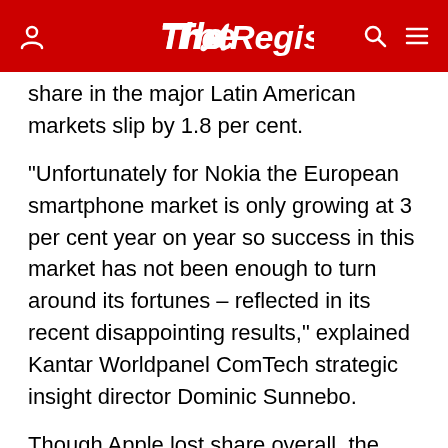The Register
share in the major Latin American markets slip by 1.8 per cent.
"Unfortunately for Nokia the European smartphone market is only growing at 3 per cent year on year so success in this market has not been enough to turn around its fortunes – reflected in its recent disappointing results," explained Kantar Worldpanel ComTech strategic insight director Dominic Sunnebo.
Though Apple lost share overall, the company noted that the iPhone maker remains strong in some of the fastest-growing markets. Apple still holds a 19 per cent share in China and a 43.9 per cent of the US market. In Japan, Kantar estimates that iOS devices account for